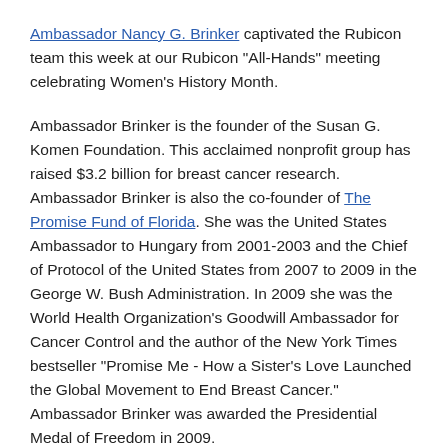Ambassador Nancy G. Brinker captivated the Rubicon team this week at our Rubicon "All-Hands" meeting celebrating Women's History Month.
Ambassador Brinker is the founder of the Susan G. Komen Foundation. This acclaimed nonprofit group has raised $3.2 billion for breast cancer research. Ambassador Brinker is also the co-founder of The Promise Fund of Florida. She was the United States Ambassador to Hungary from 2001-2003 and the Chief of Protocol of the United States from 2007 to 2009 in the George W. Bush Administration. In 2009 she was the World Health Organization's Goodwill Ambassador for Cancer Control and the author of the New York Times bestseller "Promise Me - How a Sister's Love Launched the Global Movement to End Breast Cancer." Ambassador Brinker was awarded the Presidential Medal of Freedom in 2009.
Ambassador Brinker stated that her work began 42 years ago when her sister Suzy died from breast cancer at 46. Before she